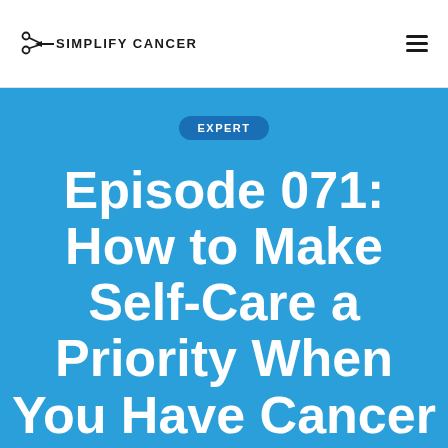SIMPLIFY CANCER
EXPERT
Episode 071: How to Make Self-Care a Priority When You Have Cancer